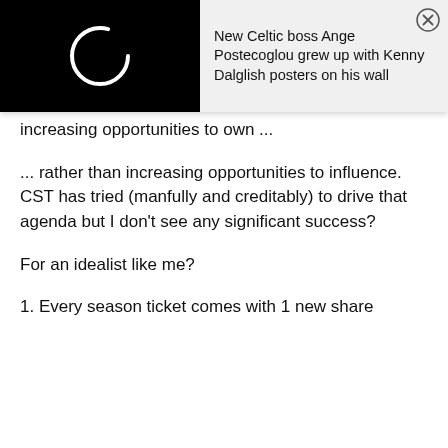[Figure (screenshot): Notification bar with black image area showing a loading circle icon on the left, and text on the right reading: 'New Celtic boss Ange Postecoglou grew up with Kenny Dalglish posters on his wall', with a close (X) button in the top right corner.]
increasing opportunities to own ...
... rather than increasing opportunities to influence. CST has tried (manfully and creditably) to drive that agenda but I don't see any significant success?
For an idealist like me?
1. Every season ticket comes with 1 new share